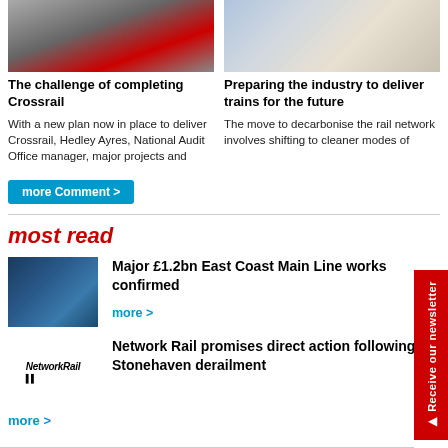[Figure (photo): Photo of escalators or rail infrastructure]
[Figure (photo): Photo of a man in white shirt and tie]
The challenge of completing Crossrail
Preparing the industry to deliver trains for the future
With a new plan now in place to deliver Crossrail, Hedley Ayres, National Audit Office manager, major projects and
The move to decarbonise the rail network involves shifting to cleaner modes of
more Comment >
most read
[Figure (photo): Photo of a train station entrance]
Major £1.2bn East Coast Main Line works confirmed
more >
[Figure (logo): Network Rail logo]
Network Rail promises direct action following Stonehaven derailment
more >
[Figure (infographic): Receive our newsletter sidebar banner]